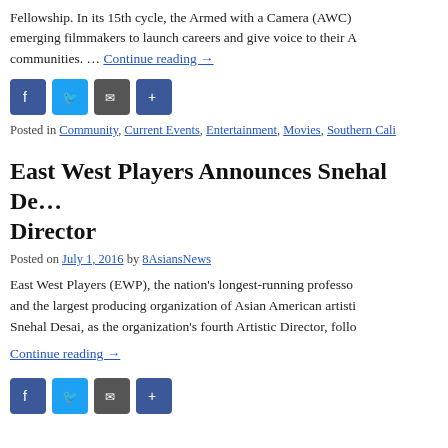Fellowship. In its 15th cycle, the Armed with a Camera (AWC) emerging filmmakers to launch careers and give voice to their A communities. … Continue reading →
[Figure (infographic): Social sharing buttons: Facebook, Twitter, Email, Share]
Posted in Community, Current Events, Entertainment, Movies, Southern Cali
East West Players Announces Snehal De… Director
Posted on July 1, 2016 by 8AsiansNews
East West Players (EWP), the nation's longest-running professo and the largest producing organization of Asian American artisti Snehal Desai, as the organization's fourth Artistic Director, follo
Continue reading →
[Figure (infographic): Social sharing buttons: Facebook, Twitter, Email, Share]